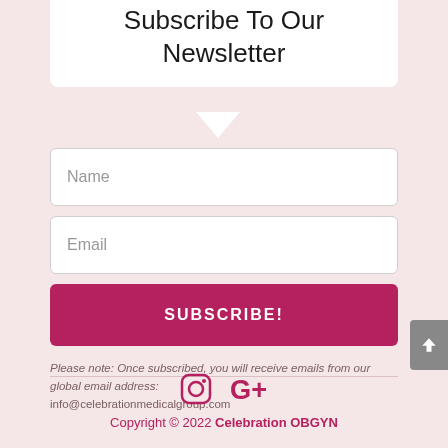Subscribe To Our Newsletter
Name
Email
SUBSCRIBE!
Please note: Once subscribed, you will receive emails from our global email address: info@celebrationmedicalgroup.com
[Figure (infographic): Social media icons: Instagram and Google+]
Copyright © 2022 Celebration OBGYN